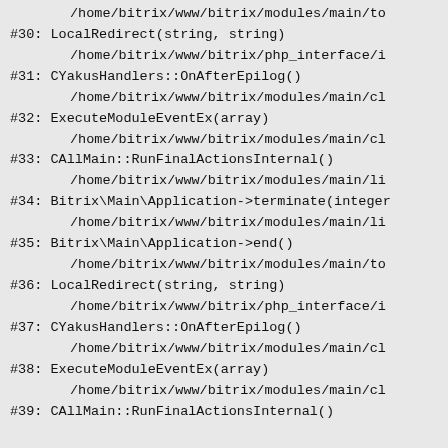/home/bitrix/www/bitrix/modules/main/to
#30: LocalRedirect(string, string)
/home/bitrix/www/bitrix/php_interface/i
#31: CYakusHandlers::OnAfterEpilog()
/home/bitrix/www/bitrix/modules/main/cl
#32: ExecuteModuleEventEx(array)
/home/bitrix/www/bitrix/modules/main/cl
#33: CAllMain::RunFinalActionsInternal()
/home/bitrix/www/bitrix/modules/main/li
#34: Bitrix\Main\Application->terminate(integer
/home/bitrix/www/bitrix/modules/main/li
#35: Bitrix\Main\Application->end()
/home/bitrix/www/bitrix/modules/main/to
#36: LocalRedirect(string, string)
/home/bitrix/www/bitrix/php_interface/i
#37: CYakusHandlers::OnAfterEpilog()
/home/bitrix/www/bitrix/modules/main/cl
#38: ExecuteModuleEventEx(array)
/home/bitrix/www/bitrix/modules/main/cl
#39: CAllMain::RunFinalActionsInternal()